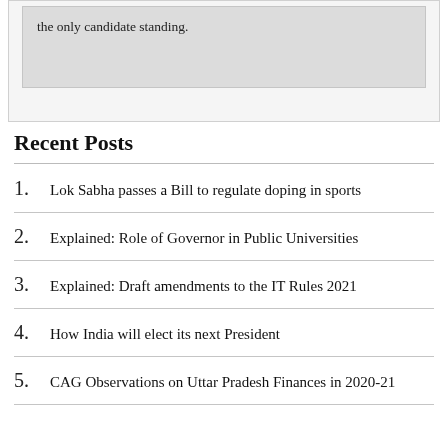the only candidate standing.
Recent Posts
Lok Sabha passes a Bill to regulate doping in sports
Explained: Role of Governor in Public Universities
Explained: Draft amendments to the IT Rules 2021
How India will elect its next President
CAG Observations on Uttar Pradesh Finances in 2020-21